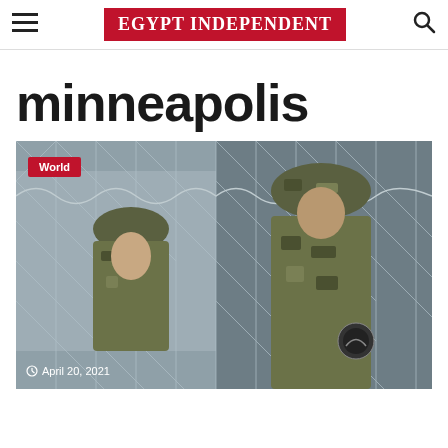Egypt Independent
minneapolis
[Figure (photo): Two soldiers in camouflage uniforms and helmets standing behind a chain-link fence with barbed wire. A 'World' category badge appears in the top-left of the image, and a date 'April 20, 2021' appears in the bottom-left.]